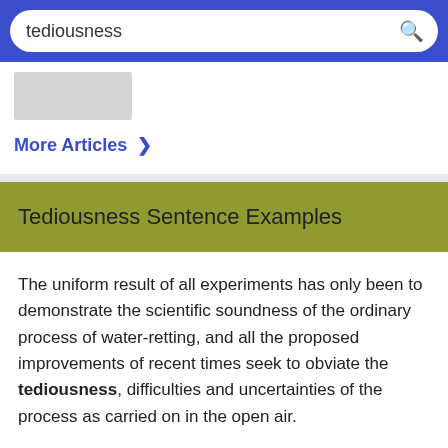tediousness [search bar]
[Figure (screenshot): Gray placeholder image thumbnail]
More Articles >
Tediousness Sentence Examples
The uniform result of all experiments has only been to demonstrate the scientific soundness of the ordinary process of water-retting, and all the proposed improvements of recent times seek to obviate the tediousness, difficulties and uncertainties of the process as carried on in the open air.